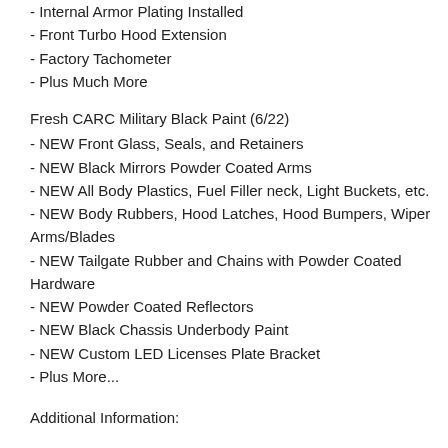- Internal Armor Plating Installed
- Front Turbo Hood Extension
- Factory Tachometer
- Plus Much More
Fresh CARC Military Black Paint (6/22)
- NEW Front Glass, Seals, and Retainers
- NEW Black Mirrors Powder Coated Arms
- NEW All Body Plastics, Fuel Filler neck, Light Buckets, etc.
- NEW Body Rubbers, Hood Latches, Hood Bumpers, Wiper Arms/Blades
- NEW Tailgate Rubber and Chains with Powder Coated Hardware
- NEW Powder Coated Reflectors
- NEW Black Chassis Underbody Paint
- NEW Custom LED Licenses Plate Bracket
- Plus More...
Additional Information: